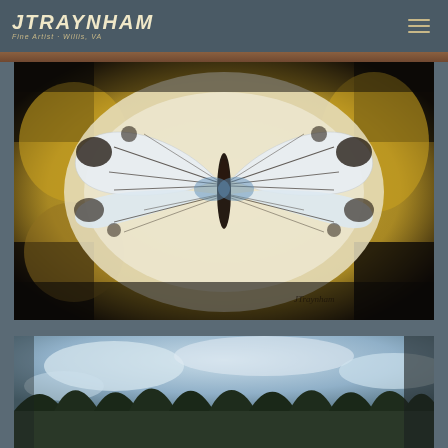JTraynham Fine Artist - Willis, VA
[Figure (photo): Painting of a white and blue butterfly with black markings on a textured yellow and dark background, signed JTraynham in the lower right]
[Figure (photo): Partial view of a painting showing blue sky with trees, partially cropped at bottom of page]